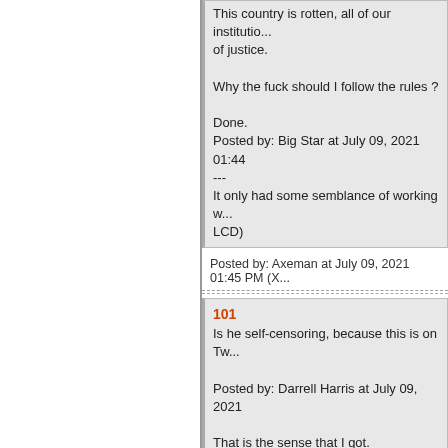This country is rotten, all of our institutions of justice.

Why the fuck should I follow the rules ?

Done.
Posted by: Big Star at July 09, 2021 01:44
---
It only had some semblance of working w... LCD)
Posted by: Axeman at July 09, 2021 01:45 PM (X...
101
Is he self-censoring, because this is on Tw...

Posted by: Darrell Harris at July 09, 2021

That is the sense that I got.
Posted by: flounder at July 09, 2021 01:44

-------

I read it as a foreigner talking. Perhaps a f... that, though.
Posted by: Yudhishthira's Dice at July 09, 2021 0...